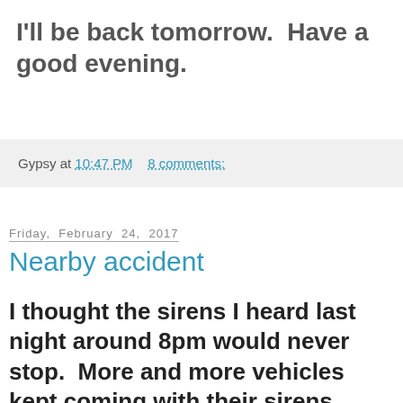I'll be back tomorrow.  Have a good evening.
Gypsy at 10:47 PM    8 comments:
Friday, February 24, 2017
Nearby accident
I thought the sirens I heard last night around 8pm would never stop.  More and more vehicles kept coming with their sirens blaring, and I thought it was probably a police matter rather